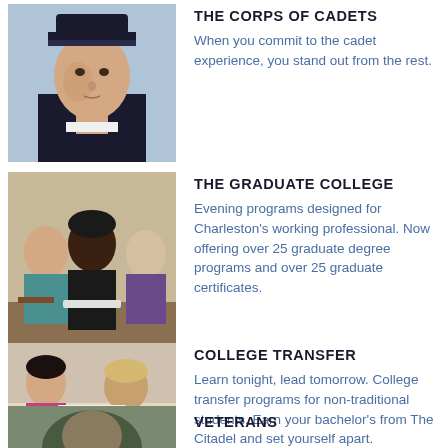[Figure (photo): Cadet in uniform with cap, looking serious]
THE CORPS OF CADETS
When you commit to the cadet experience, you stand out from the rest.
[Figure (photo): Students studying in a classroom setting]
THE GRADUATE COLLEGE
Evening programs designed for Charleston's working professional. Now offering over 25 graduate degree programs and over 25 graduate certificates.
[Figure (photo): Students working together at a table]
COLLEGE TRANSFER
Learn tonight, lead tomorrow. College transfer programs for non-traditional students. Earn your bachelor's from The Citadel and set yourself apart.
[Figure (photo): Veterans section image, partially visible]
VETERANS